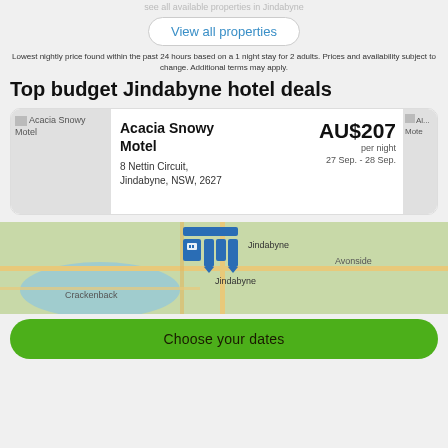see all available properties in Jindabyne
View all properties
Lowest nightly price found within the past 24 hours based on a 1 night stay for 2 adults. Prices and availability subject to change. Additional terms may apply.
Top budget Jindabyne hotel deals
[Figure (screenshot): Hotel listing card for Acacia Snowy Motel showing name, address (8 Nettin Circuit, Jindabyne, NSW, 2627), price AU$207 per night, dates 27 Sep. - 28 Sep., with placeholder image on left and partial second card on right]
[Figure (map): Map showing Jindabyne area with hotel pin cluster markers, labels for Jindabyne, Avonside, Crackenback, and Jindabyne suburb]
Choose your dates